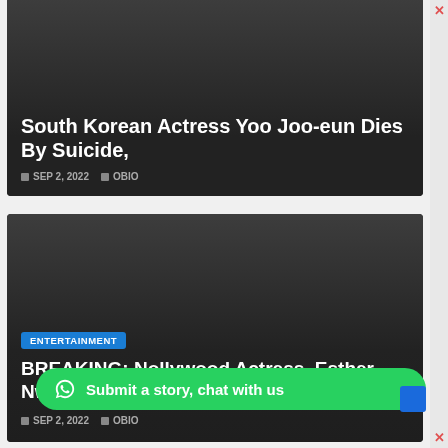South Korean Actress Yoo Joo-eun Dies By Suicide,
SEP 2, 2022  OBIO
ENTERTAINMENT
BREAKING: Nollywood Actress, Esther Nwachukwu
SEP 2, 2022  OBIO
METRO
Pastor Arrested For Raping,
Submit a story, chat with us